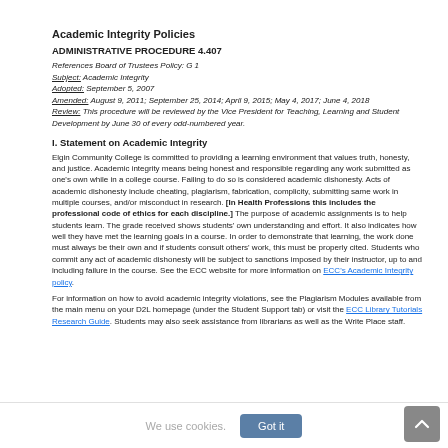Academic Integrity Policies
ADMINISTRATIVE PROCEDURE 4.407
References Board of Trustees Policy: G 1
Subject: Academic Integrity
Adopted: September 5, 2007
Amended: August 9, 2011; September 25, 2014; April 9, 2015; May 4, 2017; June 4, 2018
Review: This procedure will be reviewed by the Vice President for Teaching, Learning and Student Development by June 30 of every odd-numbered year.
I. Statement on Academic Integrity
Elgin Community College is committed to providing a learning environment that values truth, honesty, and justice. Academic integrity means being honest and responsible regarding any work submitted as one's own while in a college course. Failing to do so is considered academic dishonesty. Acts of academic dishonesty include cheating, plagiarism, fabrication, complicity, submitting same work in multiple courses, and/or misconduct in research. [In Health Professions this includes the professional code of ethics for each discipline.] The purpose of academic assignments is to help students learn. The grade received shows students' own understanding and effort. It also indicates how well they have met the learning goals in a course. In order to demonstrate that learning, the work done must always be their own and if students consult others' work, this must be properly cited. Students who commit any act of academic dishonesty will be subject to sanctions imposed by their instructor, up to and including failure in the course. See the ECC website for more information on ECC's Academic Integrity policy.
For information on how to avoid academic integrity violations, see the Plagiarism Modules available from the main menu on your D2L homepage (under the Student Support tab) or visit the ECC Library Tutorials Research Guide. Students may also seek assistance from librarians as well as the Write Place staff.